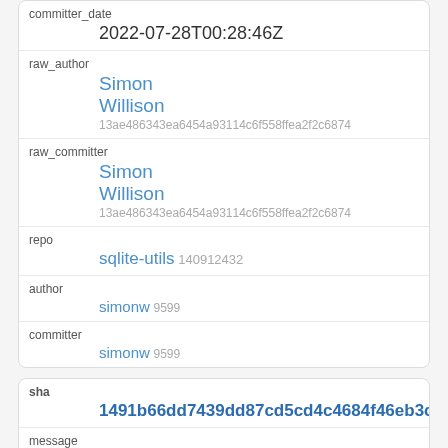| committer_date | 2022-07-28T00:28:46Z |
| raw_author | Simon
Willison 13ae486343ea6454a93114c6f558ffea2f2c6874 |
| raw_committer | Simon
Willison 13ae486343ea6454a93114c6f558ffea2f2c6874 |
| repo | sqlite-utils 140912432 |
| author | simonw 9599 |
| committer | simonw 9599 |
| sha | 1491b66dd7439dd87cd5cd4c4684f46eb3c5751b |
| message | register_function(name=...) argument, closes #458 |
| author_date |  |